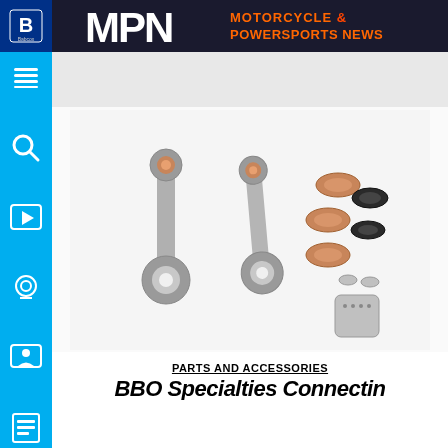MPN MOTORCYCLE & POWERSPORTS NEWS
[Figure (photo): Two motorcycle connecting rods with accompanying hardware kit including needle bearings (copper-colored rings), washers, seals, wrist pin, and small components, displayed on white background.]
PARTS AND ACCESSORIES
BBO Specialties Connecting...